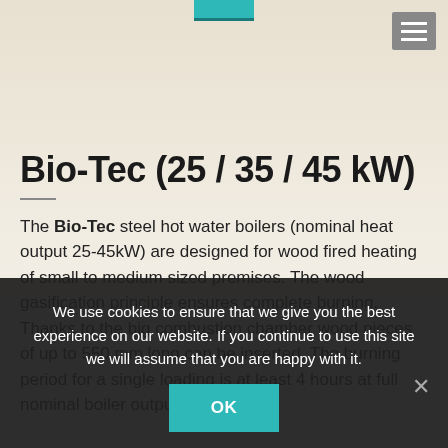[Figure (photo): Teal steel hot water boiler unit partially visible at top of page, with hamburger menu button in top right corner]
Bio-Tec (25 / 35 / 45 kW)
The Bio-Tec steel hot water boilers (nominal heat output 25-45kW) are designed for wood fired heating of small to medium sized premises. The wood gasification principle ensures complete burning. Thanks to the big combustion chamber wood pieces of up to 550 mm long can be inserted. The burning period for a single loading is at least 4 hours at full nominal boiler output and this
We use cookies to ensure that we give you the best experience on our website. If you continue to use this site we will assume that you are happy with it.